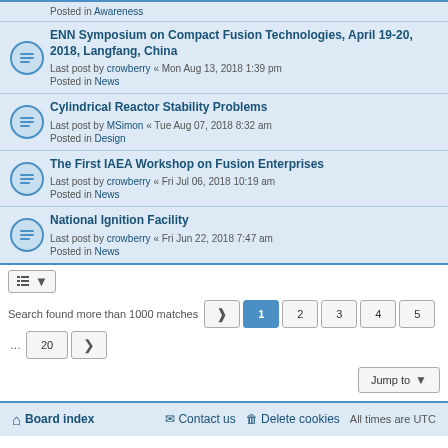Posted in Awareness
ENN Symposium on Compact Fusion Technologies, April 19-20, 2018, Langfang, China
Last post by crowberry « Mon Aug 13, 2018 1:39 pm
Posted in News
Cylindrical Reactor Stability Problems
Last post by MSimon « Tue Aug 07, 2018 8:32 am
Posted in Design
The First IAEA Workshop on Fusion Enterprises
Last post by crowberry « Fri Jul 06, 2018 10:19 am
Posted in News
National Ignition Facility
Last post by crowberry « Fri Jun 22, 2018 7:47 am
Posted in News
Search found more than 1000 matches  1 2 3 4 5 … 20
Jump to
Board index  Contact us  Delete cookies  All times are UTC
Powered by phpBB® Forum Software © phpBB Limited
Privacy | Terms